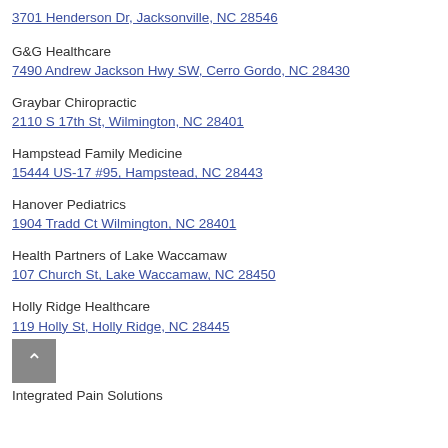3701 Henderson Dr, Jacksonville, NC 28546
G&G Healthcare
7490 Andrew Jackson Hwy SW, Cerro Gordo, NC 28430
Graybar Chiropractic
2110 S 17th St, Wilmington, NC 28401
Hampstead Family Medicine
15444 US-17 #95, Hampstead, NC 28443
Hanover Pediatrics
1904 Tradd Ct Wilmington, NC 28401
Health Partners of Lake Waccamaw
107 Church St, Lake Waccamaw, NC 28450
Holly Ridge Healthcare
119 Holly St, Holly Ridge, NC 28445
Integrated Pain Solutions